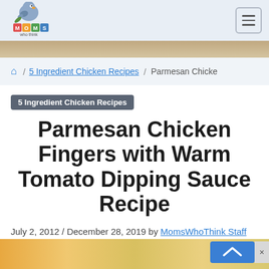Moms Who Think - navigation bar with logo and hamburger menu
[Figure (logo): Moms Who Think logo with cartoon bird on blocks]
🏠 / 5 Ingredient Chicken Recipes / Parmesan Chicke
5 Ingredient Chicken Recipes
Parmesan Chicken Fingers with Warm Tomato Dipping Sauce Recipe
July 2, 2012 / December 28, 2019 by MomsWhoThink Staff